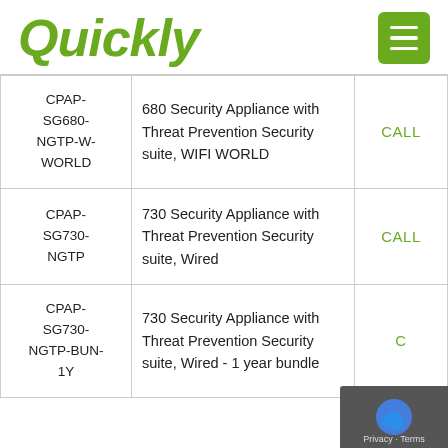Quickly
| SKU | Description | Price |
| --- | --- | --- |
| CPAP-SG680-NGTP-W-WORLD | 680 Security Appliance with Threat Prevention Security suite, WIFI WORLD | CALL |
| CPAP-SG730-NGTP | 730 Security Appliance with Threat Prevention Security suite, Wired | CALL |
| CPAP-SG730-NGTP-BUN-1Y | 730 Security Appliance with Threat Prevention Security suite, Wired - 1 year bundle | CALL |